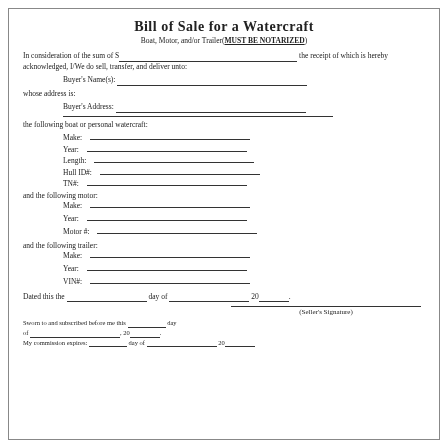Bill of Sale for a Watercraft
Boat, Motor, and/or Trailer (MUST BE NOTARIZED)
In consideration of the sum of S___________________________________ the receipt of which is hereby acknowledged, I/We do sell, transfer, and deliver unto:
Buyer's Name(s): _______________________________________________
whose address is:
Buyer's Address: _______________________________________________
the following boat or personal watercraft:
Make: ___________________ Year: ___________________ Length: ___________________ Hull ID#: ___________________ TN#: ___________________
and the following motor: Make: ___________________ Year: ___________________ Motor #: ___________________
and the following trailer: Make: ___________________ Year: ___________________ VIN#: ___________________
Dated this the _______________ day of _______________ 20____.
(Seller's Signature)
Sworn to and subscribed before me this _______ day of ___________________, 20______. My commission expires: _______ day of ___________________ 20___.